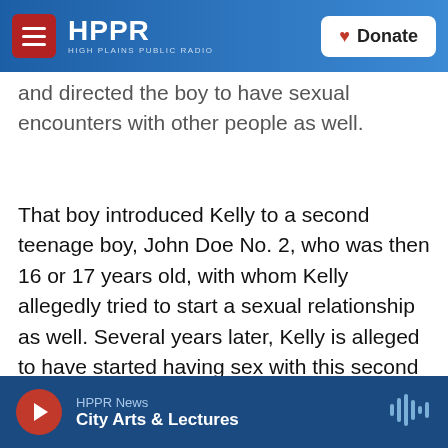HPPR HIGH PLAINS PUBLIC RADIO | Donate
and directed the boy to have sexual encounters with other people as well.
That boy introduced Kelly to a second teenage boy, John Doe No. 2, who was then 16 or 17 years old, with whom Kelly allegedly tried to start a sexual relationship as well. Several years later, Kelly is alleged to have started having sex with this second John Doe, and also forced several of his girlfriends and other sexual partners, including a minor girl, to have sex with this young man. Prosecutors say that Kelly often filmed those incidents.
HPPR News | City Arts & Lectures